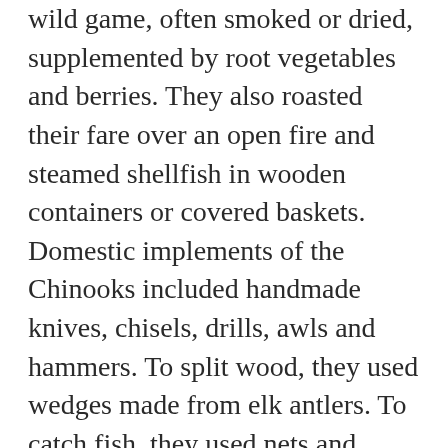wild game, often smoked or dried, supplemented by root vegetables and berries. They also roasted their fare over an open fire and steamed shellfish in wooden containers or covered baskets. Domestic implements of the Chinooks included handmade knives, chisels, drills, awls and hammers. To split wood, they used wedges made from elk antlers. To catch fish, they used nets and wooden spears with chiseled stone points, as well as sinkers and anchors shaped from rocks. They made clothing and textiles with sewing needles fashioned out of bird bones or wood. Chinooks wore elk hides, fur robes, woven hats, capes, rain cloaks and blankets. Some Chinook garments were crafted from dried bear grass or cedar bark.